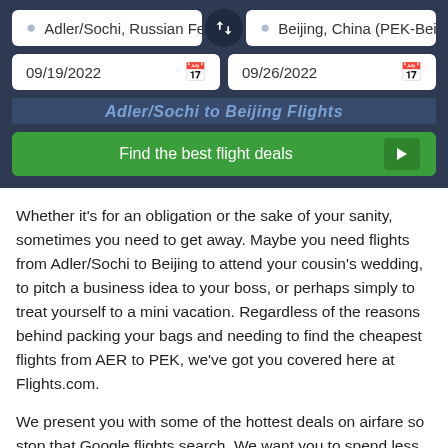[Figure (screenshot): Flight search widget with origin 'Adler/Sochi, Russian Fed', destination 'Beijing, China (PEK-Beij)', departure date '09/19/2022', return date '09/26/2022', and a 'Find the best flight deals' button. A swap button appears between the origin and destination fields.]
Whether it’s for an obligation or the sake of your sanity, sometimes you need to get away. Maybe you need flights from Adler/Sochi to Beijing to attend your cousin’s wedding, to pitch a business idea to your boss, or perhaps simply to treat yourself to a mini vacation. Regardless of the reasons behind packing your bags and needing to find the cheapest flights from AER to PEK, we’ve got you covered here at Flights.com.
We present you with some of the hottest deals on airfare so stop that Google flights search. We want you to spend less on your flight from Adler/Sochi to